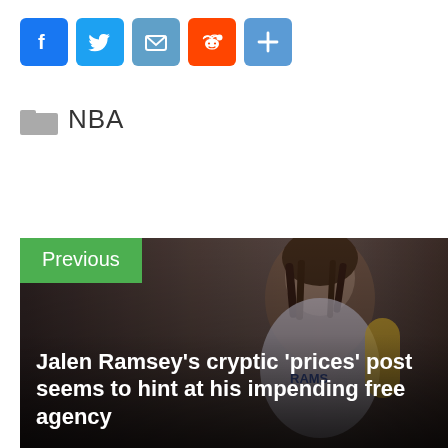[Figure (infographic): Social share buttons: Facebook (blue), Twitter (light blue), Email (blue), Reddit (orange), More/Plus (blue)]
NBA
[Figure (photo): Previous article card with photo of Jalen Ramsey (NFL player with dreadlocks, wearing LA Rams uniform), labeled 'Previous' with headline: Jalen Ramsey's cryptic 'prices' post seems to hint at his impending free agency]